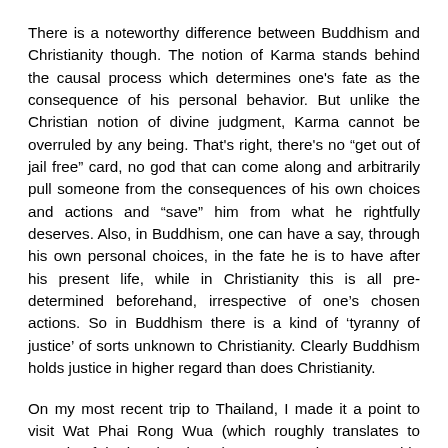There is a noteworthy difference between Buddhism and Christianity though. The notion of Karma stands behind the causal process which determines one's fate as the consequence of his personal behavior. But unlike the Christian notion of divine judgment, Karma cannot be overruled by any being. That's right, there's no “get out of jail free” card, no god that can come along and arbitrarily pull someone from the consequences of his own choices and actions and “save” him from what he rightfully deserves. Also, in Buddhism, one can have a say, through his own personal choices, in the fate he is to have after his present life, while in Christianity this is all pre-determined beforehand, irrespective of one’s chosen actions. So in Buddhism there is a kind of ‘tyranny of justice’ of sorts unknown to Christianity. Clearly Buddhism holds justice in higher regard than does Christianity.
On my most recent trip to Thailand, I made it a point to visit Wat Phai Rong Wua (which roughly translates to “temple of the bamboo barn”), a vast temple compound in Suphanburi province which is home to one of the most unforgettable